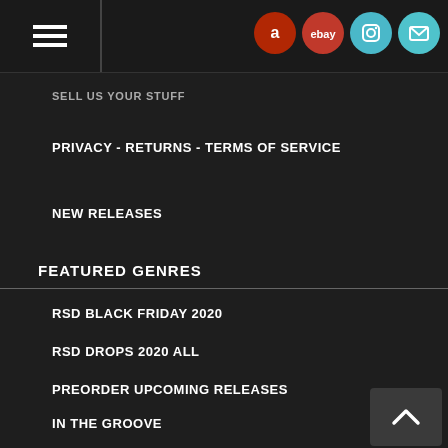Navigation bar with hamburger menu and social icons (Amazon, eBay, Instagram, Mail)
SELL US YOUR STUFF
PRIVACY - RETURNS - TERMS OF SERVICE
NEW RELEASES
FEATURED GENRES
RSD BLACK FRIDAY 2020
RSD DROPS 2020 ALL
PREORDER UPCOMING RELEASES
IN THE GROOVE
ROCK & POP